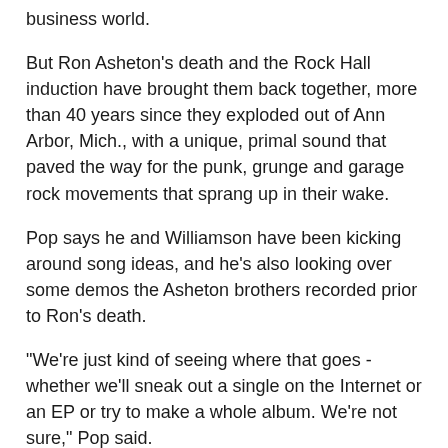business world.
But Ron Asheton's death and the Rock Hall induction have brought them back together, more than 40 years since they exploded out of Ann Arbor, Mich., with a unique, primal sound that paved the way for the punk, grunge and garage rock movements that sprang up in their wake.
Pop says he and Williamson have been kicking around song ideas, and he's also looking over some demos the Asheton brothers recorded prior to Ron's death.
"We're just kind of seeing where that goes - whether we'll sneak out a single on the Internet or an EP or try to make a whole album. We're not sure," Pop said.
Before all of that gets going, though, the guys will be introduced by Billie Joe Armstrong of Green Day and enter the Rock Hall alongside fellow inductees ABBA, Genesis, Jimmy Cliff and The Hollies.
"I am the world's forgotten boy," Pop screeches in "Search and Destroy."